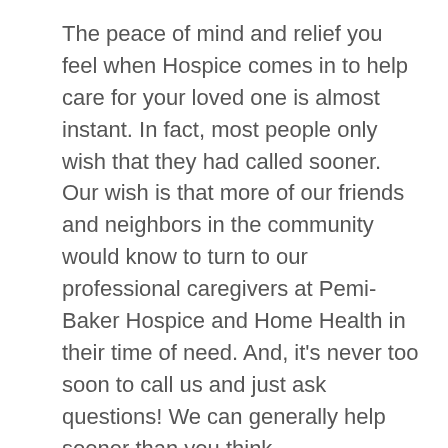The peace of mind and relief you feel when Hospice comes in to help care for your loved one is almost instant. In fact, most people only wish that they had called sooner. Our wish is that more of our friends and neighbors in the community would know to turn to our professional caregivers at Pemi-Baker Hospice and Home Health in their time of need. And, it's never too soon to call us and just ask questions! We can generally help sooner than you think.
Pemi-Baker Hospice & Home Health provides their care in your home or